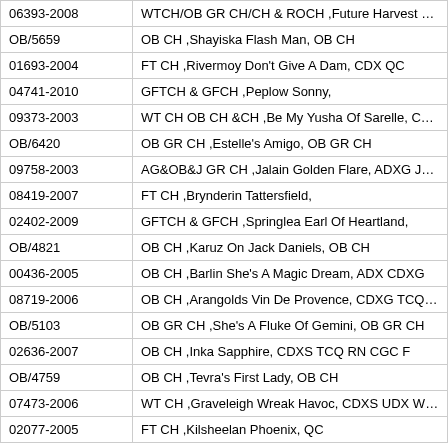| 06393-2008 | WTCH/OB GR CH/CH & ROCH ,Future Harvest Of S |
| OB/5659 | OB CH ,Shayiska Flash Man, OB CH |
| 01693-2004 | FT CH ,Rivermoy Don't Give A Dam, CDX QC |
| 04741-2010 | GFTCH & GFCH ,Peplow Sonny, |
| 09373-2003 | WT CH OB CH &CH ,Be My Yusha Of Sarelle, CDX D |
| OB/6420 | OB GR CH ,Estelle's Amigo, OB GR CH |
| 09758-2003 | AG&OB&J GR CH ,Jalain Golden Flare, ADXG JAX T |
| 08419-2007 | FT CH ,Brynderin Tattersfield, |
| 02402-2009 | GFTCH & GFCH ,Springlea Earl Of Heartland, |
| OB/4821 | OB CH ,Karuz On Jack Daniels, OB CH |
| 00436-2005 | OB CH ,Barlin She's A Magic Dream, ADX CDXG |
| 08719-2006 | OB CH ,Arangolds Vin De Provence, CDXG TCQ RE |
| OB/5103 | OB GR CH ,She's A Fluke Of Gemini, OB GR CH |
| 02636-2007 | OB CH ,Inka Sapphire, CDXS TCQ RN CGC F |
| OB/4759 | OB CH ,Tevra's First Lady, OB CH |
| 07473-2006 | WT CH ,Graveleigh Wreak Havoc, CDXS UDX WDX |
| 02077-2005 | FT CH ,Kilsheelan Phoenix, QC |